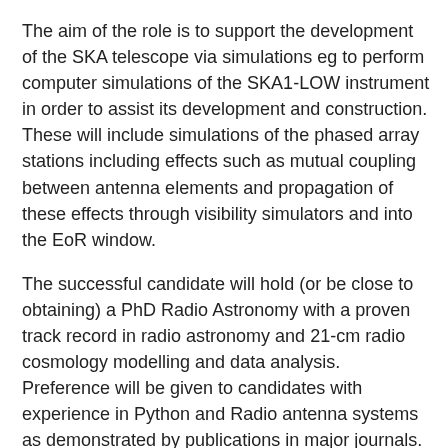The aim of the role is to support the development of the SKA telescope via simulations eg to perform computer simulations of the SKA1-LOW instrument in order to assist its development and construction. These will include simulations of the phased array stations including effects such as mutual coupling between antenna elements and propagation of these effects through visibility simulators and into the EoR window.
The successful candidate will hold (or be close to obtaining) a PhD Radio Astronomy with a proven track record in radio astronomy and 21-cm radio cosmology modelling and data analysis. Preference will be given to candidates with experience in Python and Radio antenna systems as demonstrated by publications in major journals. The candidate will also have the ability to work in a team and proven organization and communication skills.
Click the 'Apply' button below to register an account with